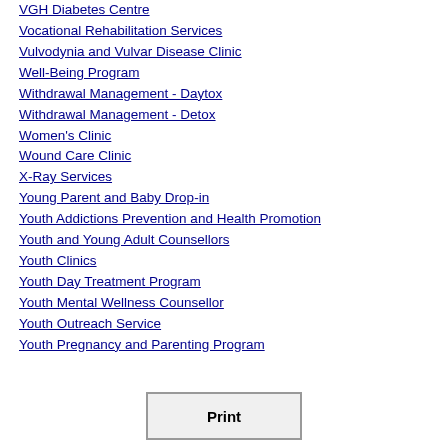VGH Diabetes Centre
Vocational Rehabilitation Services
Vulvodynia and Vulvar Disease Clinic
Well-Being Program
Withdrawal Management - Daytox
Withdrawal Management - Detox
Women's Clinic
Wound Care Clinic
X-Ray Services
Young Parent and Baby Drop-in
Youth Addictions Prevention and Health Promotion
Youth and Young Adult Counsellors
Youth Clinics
Youth Day Treatment Program
Youth Mental Wellness Counsellor
Youth Outreach Service
Youth Pregnancy and Parenting Program